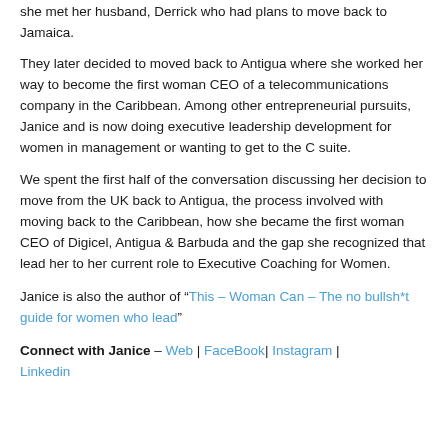she met her husband, Derrick who had plans to move back to Jamaica.
They later decided to moved back to Antigua where she worked her way to become the first woman CEO of a telecommunications company in the Caribbean. Among other entrepreneurial pursuits, Janice and is now doing executive leadership development for women in management or wanting to get to the C suite.
We spent the first half of the conversation discussing her decision to move from the UK back to Antigua, the process involved with moving back to the Caribbean, how she became the first woman CEO of Digicel, Antigua & Barbuda and the gap she recognized that lead her to her current role to Executive Coaching for Women.
Janice is also the author of “This – Woman Can – The no bullsh*t guide for women who lead”
Connect with Janice – Web | FaceBook| Instagram | Linkedin